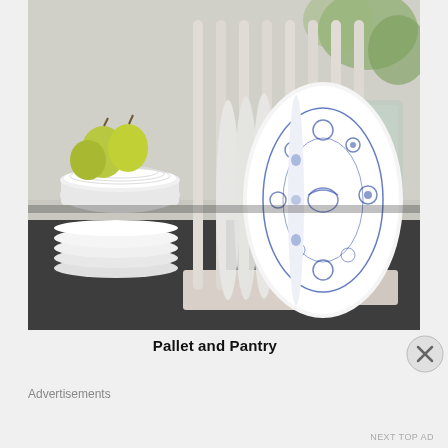[Figure (photo): A white wooden plate rack/holder on a dark countertop, holding multiple plates including white plain plates and blue and white floral patterned plates. To the left is a white bowl with green pears/apples stacked on top, and a stack of white plates. In the background there is a glass vase with flowers.]
Pallet and Pantry
Advertisements
NEXT TOP AD